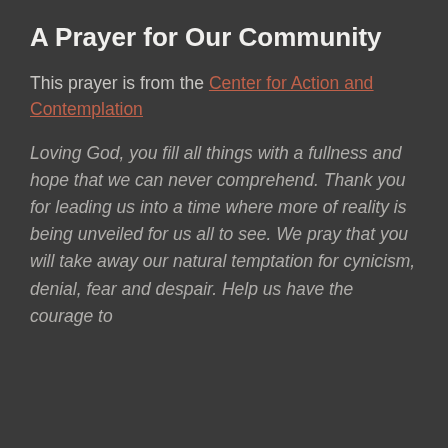A Prayer for Our Community
This prayer is from the Center for Action and Contemplation
Loving God, you fill all things with a fullness and hope that we can never comprehend. Thank you for leading us into a time where more of reality is being unveiled for us all to see. We pray that you will take away our natural temptation for cynicism, denial, fear and despair. Help us have the courage to [continues...]